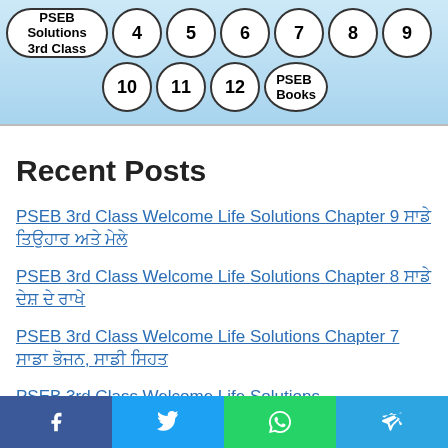PSEB Solutions 3rd Class | 4 | 5 | 6 | 7 | 8 | 9 | 10 | 11 | 12 | PSEB Books
Recent Posts
PSEB 3rd Class Welcome Life Solutions Chapter 9 ਸਾਡੇ ਤਿਉਹਾਰ ਅਤੇ ਮੇਲੇ
PSEB 3rd Class Welcome Life Solutions Chapter 8 ਸਾਡੇ ਦੇਸ਼ ਦੇ ਰਾਖੇ
PSEB 3rd Class Welcome Life Solutions Chapter 7 ਸਾਡਾ ਭੋਜਨ, ਸਾਡੀ ਸਿਹਤ
PSEB 3rd Class Welcome Life Solutions
f | t | WhatsApp | Telegram